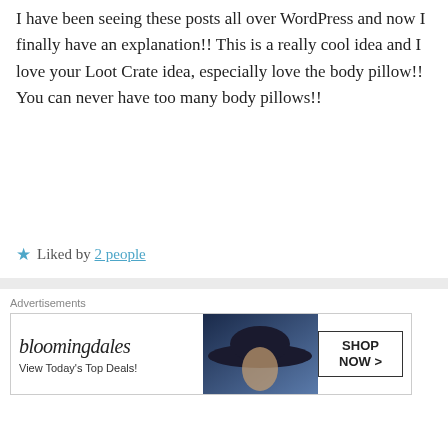I have been seeing these posts all over WordPress and now I finally have an explanation!! This is a really cool idea and I love your Loot Crate idea, especially love the body pillow!! You can never have too many body pillows!!
★ Liked by 2 people
TwoHappyCats on December 28, 2016 at 11:10 am
Thank you ^^! Hehe I know right, the dream is to have my whole bed covered in them.
Advertisements